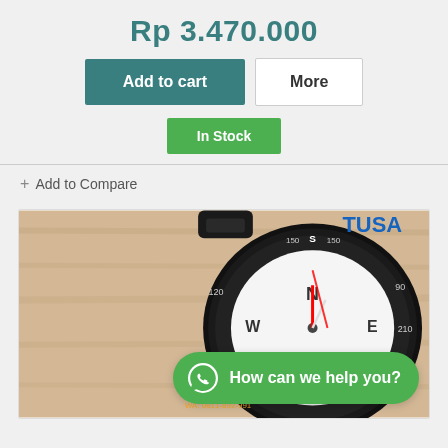Rp 3.470.000
Add to cart
More
In Stock
+ Add to Compare
[Figure (photo): TUSA diving compass wristband compass with black bezel on a wooden surface background. WhatsApp chat button overlay reading 'How can we help you?' and Hobby Dive watermark at bottom.]